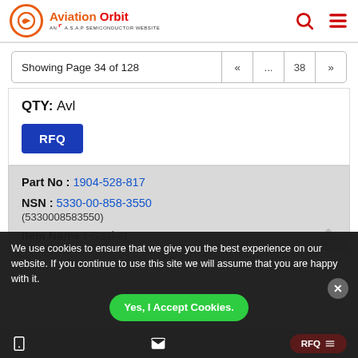Aviation Orbit – AN A.S.A.P SEMICONDUCTOR WEBSITE
Showing Page 34 of 128 « ... 38 »
QTY: Avl
RFQ
Part No: 1904-528-817
NSN: 5330-00-858-3550 (5330008583550)
Item Name: Gasket
We use cookies to ensure that we give you the best experience on our website. If you continue to use this site we will assume that you are happy with it.
Yes, I Accept Cookies.